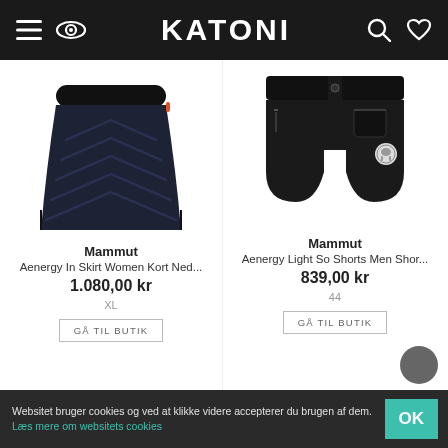KATONI
[Figure (photo): Mammut Aenergy In Skirt Women, dark navy quilted insulated skirt]
Mammut
Aenergy In Skirt Women Kort Ned...
1.080,00 kr
XL
[Figure (photo): Mammut Aenergy Light So Shorts Men, black shorts]
Mammut
Aenergy Light So Shorts Men Shor...
839,00 kr
44
Websitet bruger cookies og ved at klikke videre accepterer du brugen af dem. Læs mere om websitets cookies